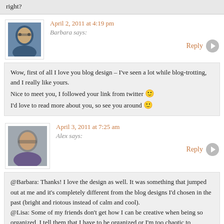right?
April 2, 2011 at 4:19 pm
Barbara says:
Reply
Wow, first of all I love you blog design – I've seen a lot while blog-trotting, and I really like yours.
Nice to meet you, I followed your link from twitter 🙂
I'd love to read more about you, so see you around 🙂
April 3, 2011 at 7:25 am
Alex says:
Reply
@Barbara: Thanks! I love the design as well. It was something that jumped out at me and it's completely different from the blog designs I'd chosen in the past (bright and riotous instead of calm and cool).
@Lisa: Some of my friends don't get how I can be creative when being so organized, I tell them that I have to be organized or I'm too chaotic to